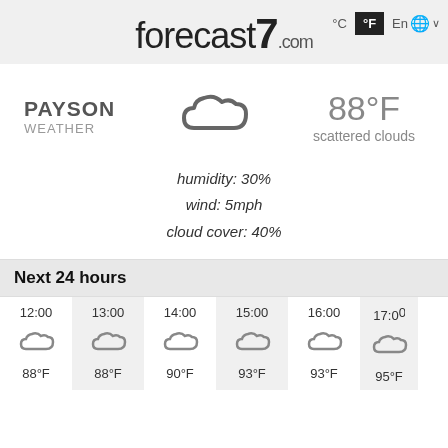[Figure (logo): forecast7.com logo in large text]
°C  °F  En 🌐 ∨
PAYSON WEATHER
[Figure (illustration): Cloud weather icon for scattered clouds]
88°F scattered clouds
humidity: 30%
wind: 5mph
cloud cover: 40%
Next 24 hours
| 12:00 | 13:00 | 14:00 | 15:00 | 16:00 | 17:00 |
| --- | --- | --- | --- | --- | --- |
| [cloud] | [cloud] | [cloud] | [cloud] | [cloud] | [cloud] |
| 88°F | 88°F | 90°F | 93°F | 93°F | 95°F |